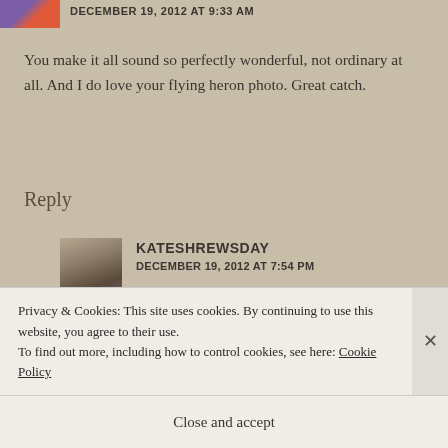DECEMBER 19, 2012 AT 9:33 AM
You make it all sound so perfectly wonderful, not ordinary at all. And I do love your flying heron photo. Great catch.
Reply
KATESHREWSDAY
DECEMBER 19, 2012 AT 7:54 PM
It wasn't ordinary, Jennifer: it was a golden day 🙂
Privacy & Cookies: This site uses cookies. By continuing to use this website, you agree to their use.
To find out more, including how to control cookies, see here: Cookie Policy
Close and accept